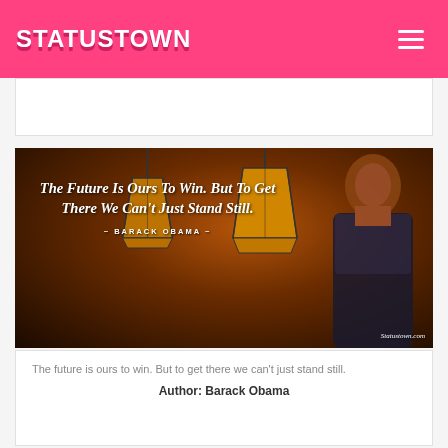STATUSTOWN
[Figure (illustration): Dark background quote image with geometric pendant lamps and Barack Obama portrait. Text reads: 'The Future Is Ours To Win. But To Get There We Can't Just Stand Still.' ~ BARACK OBAMA ~ Statustown.com watermark.]
The future is ours to win. But to get there we can't just stand still.
Author: Barack Obama